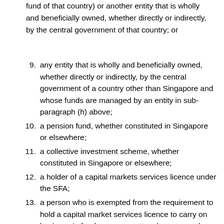fund of that country) or another entity that is wholly and beneficially owned, whether directly or indirectly, by the central government of that country; or
9. any entity that is wholly and beneficially owned, whether directly or indirectly, by the central government of a country other than Singapore and whose funds are managed by an entity in sub-paragraph (h) above;
10. a pension fund, whether constituted in Singapore or elsewhere;
11. a collective investment scheme, whether constituted in Singapore or elsewhere;
12. a holder of a capital markets services licence under the SFA;
13. a person who is exempted from the requirement to hold a capital market services licence to carry on business in fund management under paragraph 5(1)(i) of the Second Schedule to the Securities and Futures (Licensing and Conduct of Business) Regulations (Re